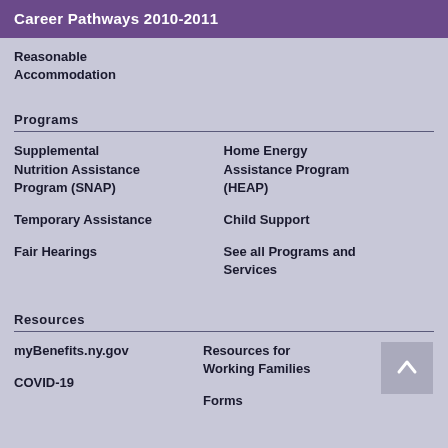Career Pathways 2010-2011
Reasonable Accommodation
Programs
Supplemental Nutrition Assistance Program (SNAP)
Home Energy Assistance Program (HEAP)
Temporary Assistance
Child Support
Fair Hearings
See all Programs and Services
Resources
myBenefits.ny.gov
Resources for Working Families
COVID-19
Forms